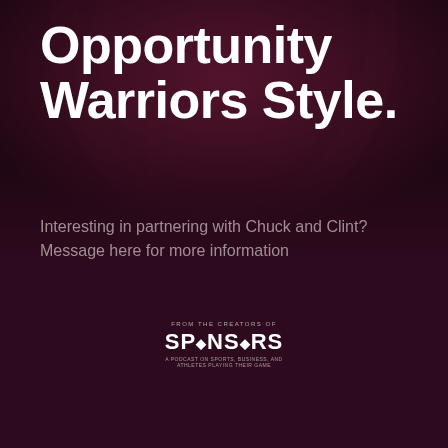Opportunity Warriors Style.
Interesting in partnering with Chuck and Clint? Message here for more information
[Figure (logo): Sponsors logo with text 'SPONSORS' in bold white lettering with small tagline text above and below]
[Figure (illustration): Dark maroon/burgundy background with archway architectural element visible in upper portion, creating a moody atmospheric backdrop]